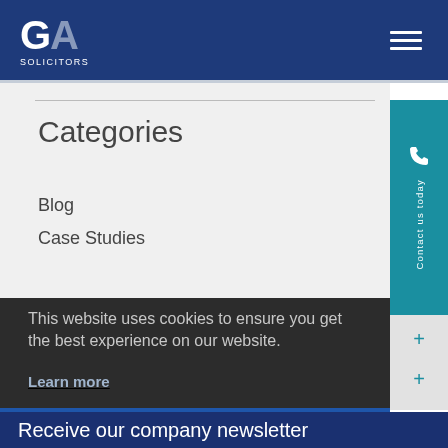[Figure (logo): GA Solicitors logo — white letters G and A with SOLICITORS text below, on dark blue background]
Categories
Blog
Case Studies
This website uses cookies to ensure you get the best experience on our website.
Learn more
Got it!
Receive our company newsletter